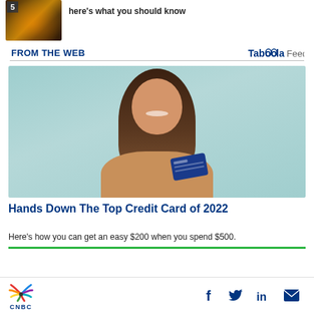[Figure (photo): Thumbnail image number 5 showing a dark amber/fire-like scene]
here's what you should know
FROM THE WEB
[Figure (logo): Taboola Feed logo]
[Figure (photo): Woman smiling holding a blue credit card and a smartphone against a light teal background]
Hands Down The Top Credit Card of 2022
Here's how you can get an easy $200 when you spend $500.
[Figure (logo): CNBC logo with peacock icon]
[Figure (infographic): Social media icons: Facebook, Twitter, LinkedIn, Email]